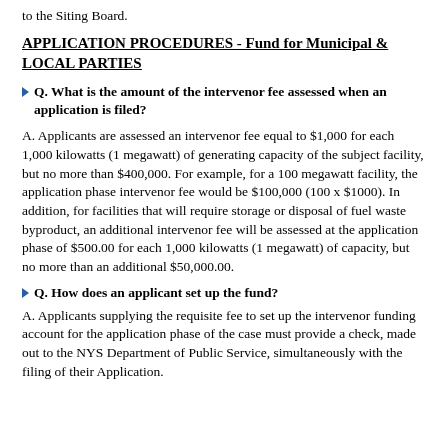to the Siting Board.
APPLICATION PROCEDURES - Fund for Municipal & LOCAL PARTIES
Q. What is the amount of the intervenor fee assessed when an application is filed?
A. Applicants are assessed an intervenor fee equal to $1,000 for each 1,000 kilowatts (1 megawatt) of generating capacity of the subject facility, but no more than $400,000. For example, for a 100 megawatt facility, the application phase intervenor fee would be $100,000 (100 x $1000). In addition, for facilities that will require storage or disposal of fuel waste byproduct, an additional intervenor fee will be assessed at the application phase of $500.00 for each 1,000 kilowatts (1 megawatt) of capacity, but no more than an additional $50,000.00.
Q. How does an applicant set up the fund?
A. Applicants supplying the requisite fee to set up the intervenor funding account for the application phase of the case must provide a check, made out to the NYS Department of Public Service, simultaneously with the filing of their Application.